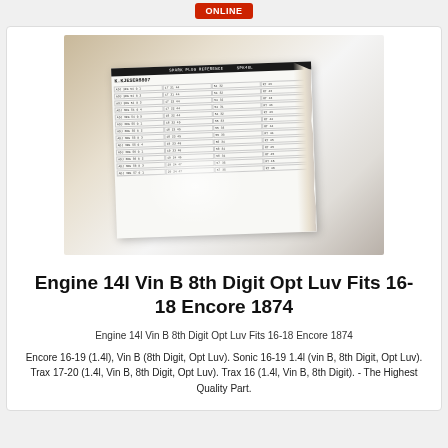[Figure (photo): Photo of a torn parts reference sheet/label with a grid of small text, placed on a reflective surface. The paper document has a dark header bar and multiple rows of data in small monospace font.]
Engine 14l Vin B 8th Digit Opt Luv Fits 16-18 Encore 1874
Engine 14l Vin B 8th Digit Opt Luv Fits 16-18 Encore 1874
Encore 16-19 (1.4l), Vin B (8th Digit, Opt Luv). Sonic 16-19 1.4l (vin B, 8th Digit, Opt Luv). Trax 17-20 (1.4l, Vin B, 8th Digit, Opt Luv). Trax 16 (1.4l, Vin B, 8th Digit). - The Highest Quality Part.